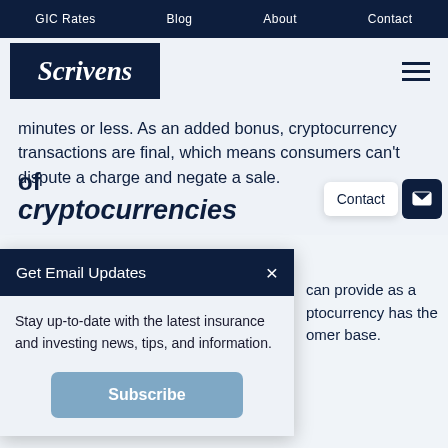GIC Rates   Blog   About   Contact
[Figure (logo): Scrivens logo — white serif italic text on dark navy background]
minutes or less. As an added bonus, cryptocurrency transactions are final, which means consumers can't dispute a charge and negate a sale.
[Figure (screenshot): Email subscription popup overlay with dark navy header 'Get Email Updates' with close X button, and body text 'Stay up-to-date with the latest insurance and investing news, tips, and information.' with a Subscribe button]
can provide as a  ptocurrency has the  omer base.
of
cryptocurrencies